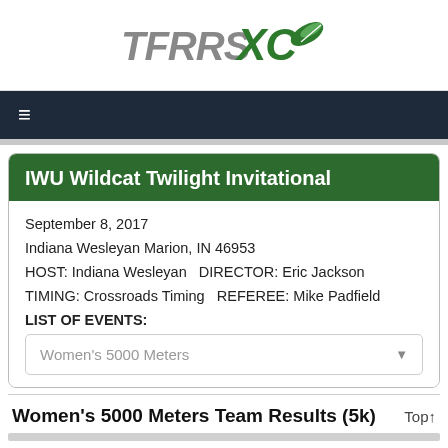[Figure (logo): TFRRS XC logo with stylized text and wing graphic in green and gray]
≡
IWU Wildcat Twilight Invitational
September 8, 2017
Indiana Wesleyan Marion, IN 46953
HOST: Indiana Wesleyan  DIRECTOR: Eric Jackson
TIMING: Crossroads Timing  REFEREE: Mike Padfield
LIST OF EVENTS:
Women's 5000 Meters
Women's 5000 Meters Team Results (5k)